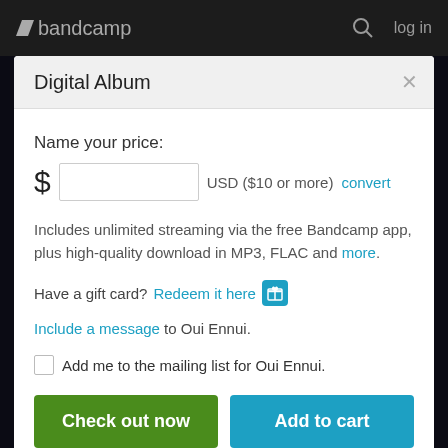bandcamp  log in
Digital Album
Name your price:
$ [input] USD ($10 or more) convert
Includes unlimited streaming via the free Bandcamp app, plus high-quality download in MP3, FLAC and more.
Have a gift card? Redeem it here [gift icon]
Include a message to Oui Ennui.
Add me to the mailing list for Oui Ennui.
Check out now | Add to cart